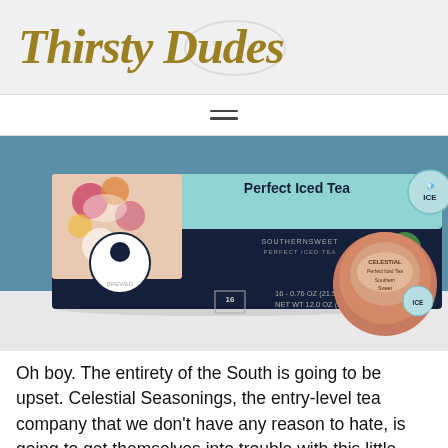Thirsty Dudes
[Figure (photo): Product photo of Celestial Seasonings Perfect Iced Tea Keurig K-Cup box (16 count, 16-0.76 OZ / 21.5G/EA, NET WT 12.0 OZ / 344G) with a single K-Cup pod visible on the right side, photographed on a white surface against a blue background.]
Oh boy. The entirety of the South is going to be upset. Celestial Seasonings, the entry-level tea company that we don't have any reason to hate, is going to get themselves into trouble with this little guy. I've said it a lot, but I'll say it again. The key to a good sweet tea is the lack of ingredients. Celestial Seasoning knows what time it is and